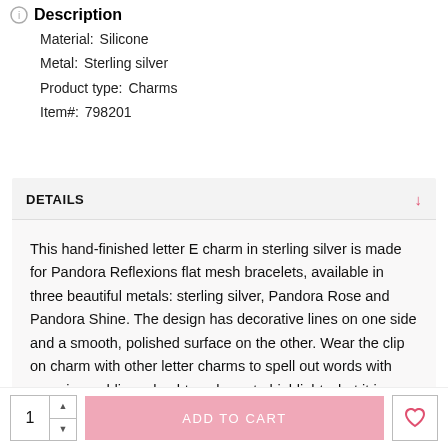Description
Material:  Silicone
Metal:  Sterling silver
Product type:  Charms
Item#:  798201
DETAILS
This hand-finished letter E charm in sterling silver is made for Pandora Reflexions flat mesh bracelets, available in three beautiful metals: sterling silver, Pandora Rose and Pandora Shine. The design has decorative lines on one side and a smooth, polished surface on the other. Wear the clip on charm with other letter charms to spell out words with meaning, adding a hashtag charm to highlight what it is you want to say.